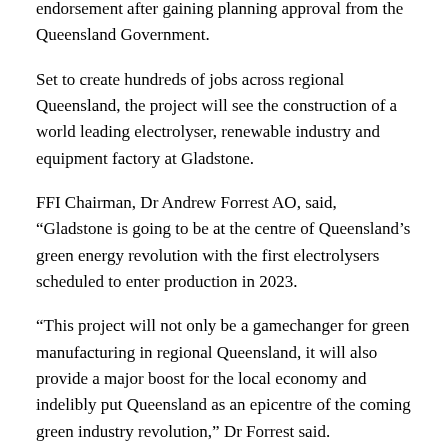endorsement after gaining planning approval from the Queensland Government.
Set to create hundreds of jobs across regional Queensland, the project will see the construction of a world leading electrolyser, renewable industry and equipment factory at Gladstone.
FFI Chairman, Dr Andrew Forrest AO, said, “Gladstone is going to be at the centre of Queensland’s green energy revolution with the first electrolysers scheduled to enter production in 2023.
“This project will not only be a gamechanger for green manufacturing in regional Queensland, it will also provide a major boost for the local economy and indelibly put Queensland as an epicentre of the coming green industry revolution,” Dr Forrest said.
FFI Chief Executive Officer Julie Shuttleworth AM said, “This manufacturing facility in Gladstone will be a major hub in Queensland’s growing hydrogen industry and we are pleased to be working with the State Government on pioneering green hydrogen